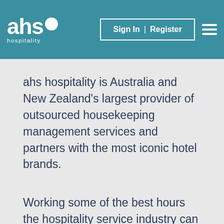ahs hospitality — Sign In | Register
ahs hospitality is Australia and New Zealand's largest provider of outsourced housekeeping management services and partners with the most iconic hotel brands.
Working some of the best hours the hospitality service industry can offer, we would be pleased to connect with you. Service with a smile is our mantra and we truly believe we are the best outsourced service company you could choose to